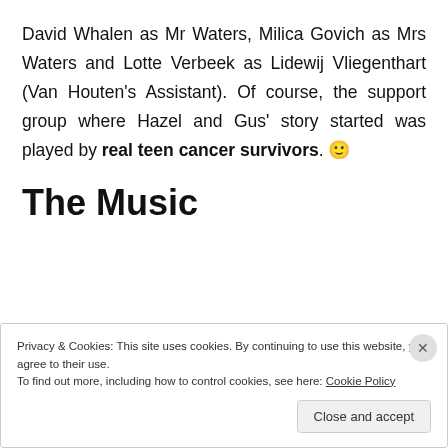David Whalen as Mr Waters, Milica Govich as Mrs Waters and Lotte Verbeek as Lidewij Vliegenthart (Van Houten's Assistant). Of course, the support group where Hazel and Gus' story started was played by real teen cancer survivors. 🙂
The Music
Privacy & Cookies: This site uses cookies. By continuing to use this website, you agree to their use.
To find out more, including how to control cookies, see here: Cookie Policy